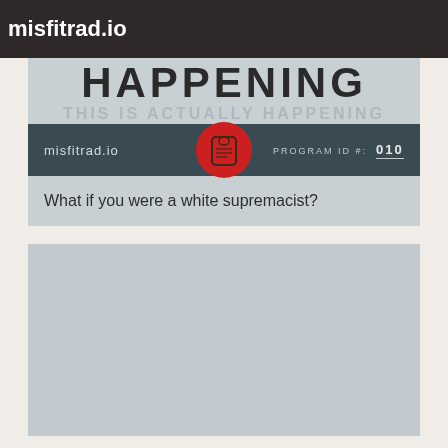misfitrad.io
[Figure (screenshot): misfitrad.io podcast card for 'This Is Actually Happening' episode. Shows banner with large text 'HAPPENING' and subtitle 'THIS IS ACTUALLY HAPPENING', dark teal nav bar with misfitrad.io logo, red circular logo icon in center, and PROGRAM ID #: 010 on right. Below is a light gray content area with the episode question.]
What if you were a white supremacist?